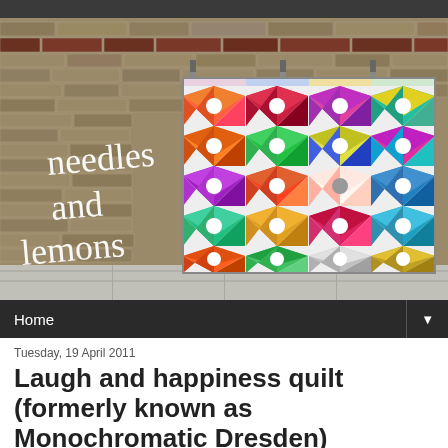[Figure (photo): Blog header image showing a colorful Dresden plate quilt hanging against a brick wall outdoors, with handwritten-style text 'needles and lemons' overlaid on the left side]
Home ▼
Tuesday, 19 April 2011
Laugh and happiness quilt (formerly known as Monochromatic Dresden)